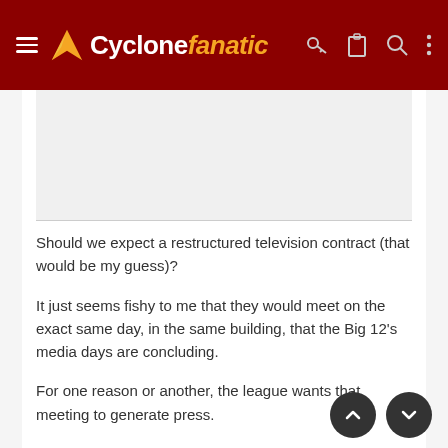Cyclone fanatic
Should we expect a restructured television contract (that would be my guess)?
It just seems fishy to me that they would meet on the exact same day, in the same building, that the Big 12's media days are concluding.
For one reason or another, the league wants that meeting to generate press.
Stay tuned.